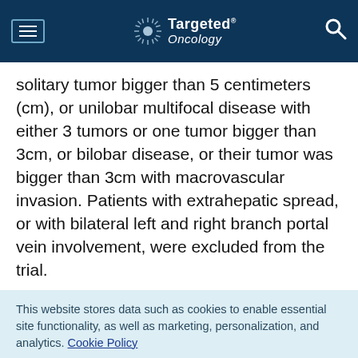Targeted Oncology
solitary tumor bigger than 5 centimeters (cm), or unilobar multifocal disease with either 3 tumors or one tumor bigger than 3cm, or bilobar disease, or their tumor was bigger than 3cm with macrovascular invasion. Patients with extrahepatic spread, or with bilateral left and right branch portal vein involvement, were excluded from the trial.
This website stores data such as cookies to enable essential site functionality, as well as marketing, personalization, and analytics. Cookie Policy
Accept
Deny